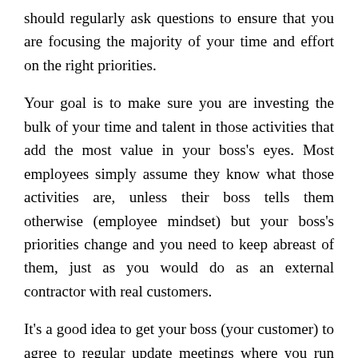should regularly ask questions to ensure that you are focusing the majority of your time and effort on the right priorities.
Your goal is to make sure you are investing the bulk of your time and talent in those activities that add the most value in your boss's eyes. Most employees simply assume they know what those activities are, unless their boss tells them otherwise (employee mindset) but your boss's priorities change and you need to keep abreast of them, just as you would do as an external contractor with real customers.
It's a good idea to get your boss (your customer) to agree to regular update meetings where you run through what's gone well and what priorities you are currently emphasizing. Such meetings are a selling opportunity. By reviewing what has been going well (not just where the problems are) you're letting your customer know how much